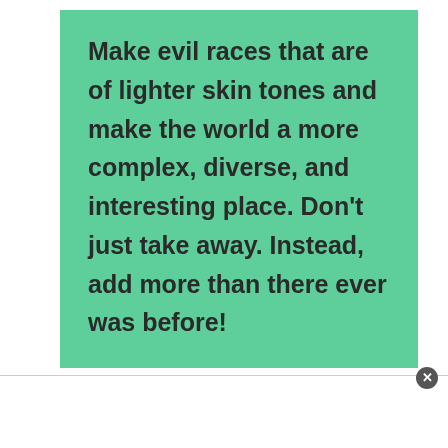Make evil races that are of lighter skin tones and make the world a more complex, diverse, and interesting place. Don't just take away. Instead, add more than there ever was before!